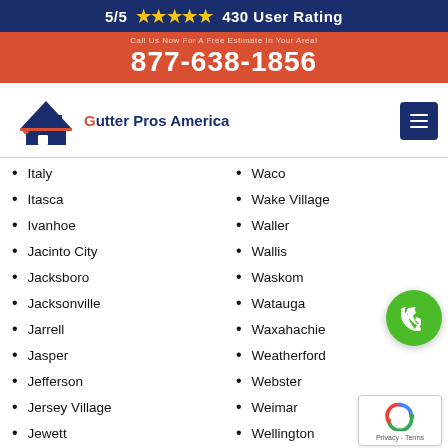5/5 ★★★★★ 430 User Rating
877-638-1856
[Figure (logo): Gutter Pros America logo with house roof icon]
Italy
Itasca
Ivanhoe
Jacinto City
Jacksboro
Jacksonville
Jarrell
Jasper
Jefferson
Jersey Village
Jewett
Johnson City
Jones Creek
Waco
Wake Village
Waller
Wallis
Waskom
Watauga
Waxahachie
Weatherford
Webster
Weimar
Wellington
Wells Branch
Weslaco